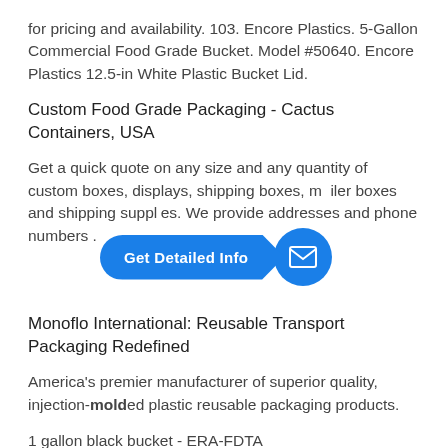for pricing and availability. 103. Encore Plastics. 5-Gallon Commercial Food Grade Bucket. Model #50640. Encore Plastics 12.5-in White Plastic Bucket Lid.
Custom Food Grade Packaging - Cactus Containers, USA
Get a quick quote on any size and any quantity of custom boxes, displays, shipping boxes, mailer boxes and shipping supplies. We provide addresses and phone numbers .
[Figure (infographic): Blue 'Get Detailed Info' pill-shaped button with arrow pointing right, next to a blue circular mail icon button.]
Monoflo International: Reusable Transport Packaging Redefined
America's premier manufacturer of superior quality, injection-molded plastic reusable packaging products.
1 gallon black bucket - ERA-FDTA